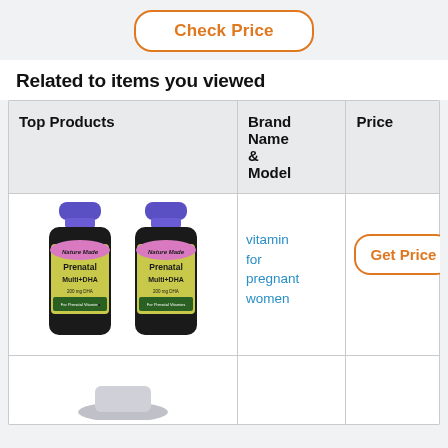[Figure (other): Orange outlined rounded button with text 'Check Price']
Related to items you viewed
| Top Products | Brand Name & Model | Price |
| --- | --- | --- |
| [image of Nature Made Prenatal Multi+DHA bottles] | vitamin for pregnant women | [Get Price button] |